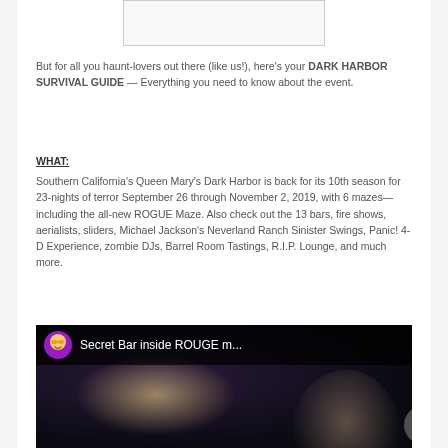[Figure (other): Partial image at top of page, white/light gray rectangle with border]
But for all you haunt-lovers out there (like us!), here's your DARK HARBOR SURVIVAL GUIDE — Everything you need to know about the event.
WHAT:
Southern California's Queen Mary's Dark Harbor is back for its 10th season for 23-nights of terror September 26 through November 2, 2019, with 6 mazes—including the all-new ROGUE Maze. Also check out the 13 bars, fire shows, aerialists, sliders, Michael Jackson's Neverland Ranch Sinister Swings, Panic! 4-D Experience, zombie DJs, Barrel Room Tastings, R.I.P. Lounge, and much more.
[Figure (screenshot): YouTube video thumbnail showing 'Secret Bar inside ROUGE m...' with a purple avatar icon and dark background showing people]